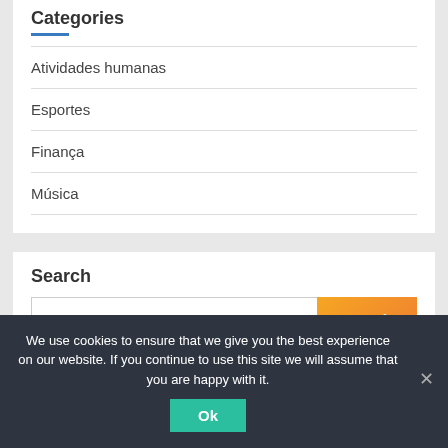Categories
Atividades humanas
Esportes
Finança
Música
Search
We use cookies to ensure that we give you the best experience on our website. If you continue to use this site we will assume that you are happy with it.
Ok